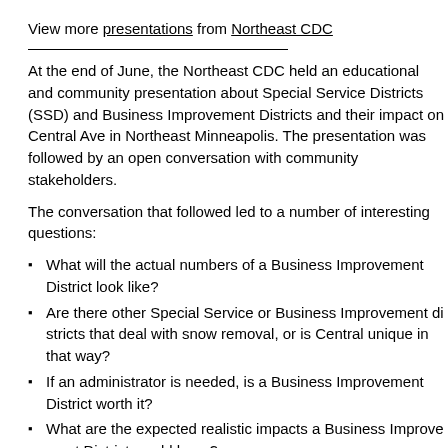View more presentations from Northeast CDC
At the end of June, the Northeast CDC held an educational and community presentation about Special Service Districts (SSD) and Business Improvement Districts and their impact on Central Ave in Northeast Minneapolis. The presentation was followed by an open conversation with community stakeholders.
The conversation that followed led to a number of interesting questions:
What will the actual numbers of a Business Improvement District look like?
Are there other Special Service or Business Improvement districts that deal with snow removal, or is Central unique in that way?
If an administrator is needed, is a Business Improvement District worth it?
What are the expected realistic impacts a Business Improvement District would have?
Over the next year, we'll be answering these and other questions as we explore a Business Improvement District along Central Avenue.